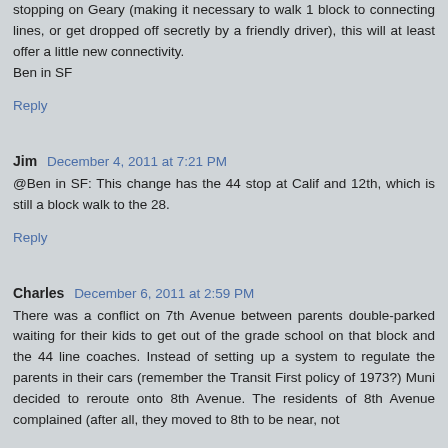stopping on Geary (making it necessary to walk 1 block to connecting lines, or get dropped off secretly by a friendly driver), this will at least offer a little new connectivity.
Ben in SF
Reply
Jim  December 4, 2011 at 7:21 PM
@Ben in SF: This change has the 44 stop at Calif and 12th, which is still a block walk to the 28.
Reply
Charles  December 6, 2011 at 2:59 PM
There was a conflict on 7th Avenue between parents double-parked waiting for their kids to get out of the grade school on that block and the 44 line coaches. Instead of setting up a system to regulate the parents in their cars (remember the Transit First policy of 1973?) Muni decided to reroute onto 8th Avenue. The residents of 8th Avenue complained (after all, they moved to 8th to be near, not